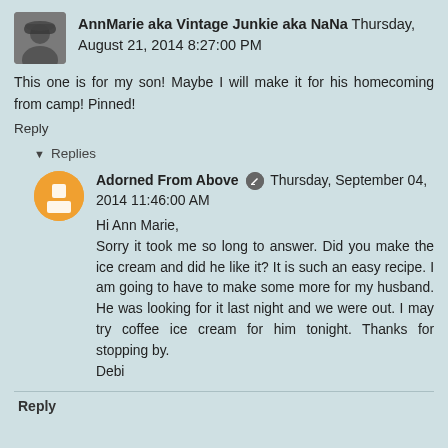AnnMarie aka Vintage Junkie aka NaNa Thursday, August 21, 2014 8:27:00 PM
This one is for my son! Maybe I will make it for his homecoming from camp! Pinned!
Reply
Replies
Adorned From Above Thursday, September 04, 2014 11:46:00 AM
Hi Ann Marie,
Sorry it took me so long to answer. Did you make the ice cream and did he like it? It is such an easy recipe. I am going to have to make some more for my husband. He was looking for it last night and we were out. I may try coffee ice cream for him tonight. Thanks for stopping by.
Debi
Reply